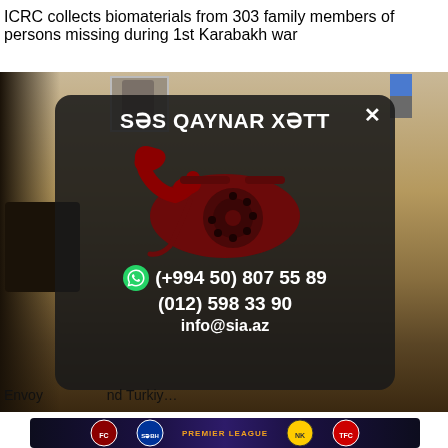ICRC collects biomaterials from 303 family members of persons missing during 1st Karabakh war
[Figure (screenshot): Popup/modal overlay on a webpage showing 'SƏS QAYNAR XƏTT' (hotline) with a red rotary telephone image, WhatsApp icon, phone numbers (+994 50) 807 55 89 and (012) 598 33 90, and email info@sia.az. Background shows a partial photo of an office setting with a portrait and flag.]
Envoy … nd Turkiy…
[Figure (screenshot): Sports bar showing Premier League logos including team shields]